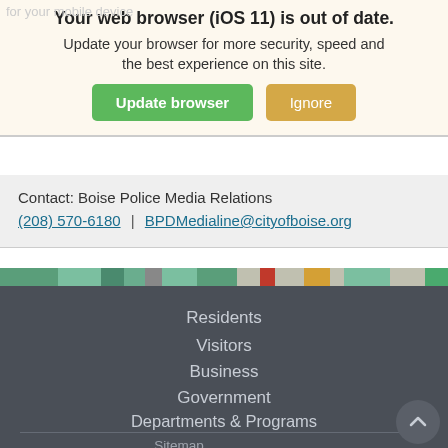Your web browser (iOS 11) is out of date. Update your browser for more security, speed and the best experience on this site.
Update browser | Ignore
Contact: Boise Police Media Relations
(208) 570-6180 | BPDMedialine@cityofboise.org
Residents
Visitors
Business
Government
Departments & Programs
Sitemap
Terms of Use and Privacy Policy